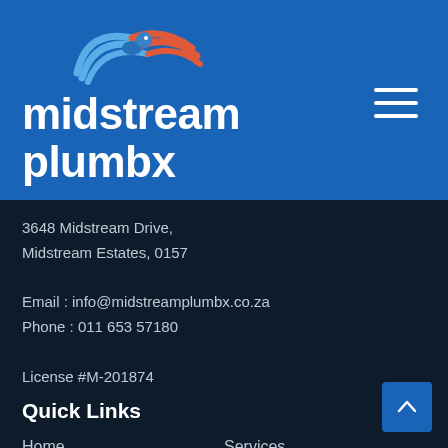[Figure (logo): Midstream Plumbx logo with blue and red bird/wave motif above text 'midstream plumbx' in white on blue background]
3648 Midstream Drive,
Midstream Estates, 0157

Email : info@midstreamplumbx.co.za
Phone : 011 653 57180

License #M-201874
Quick Links
Home
Services
About Us
Schedule an